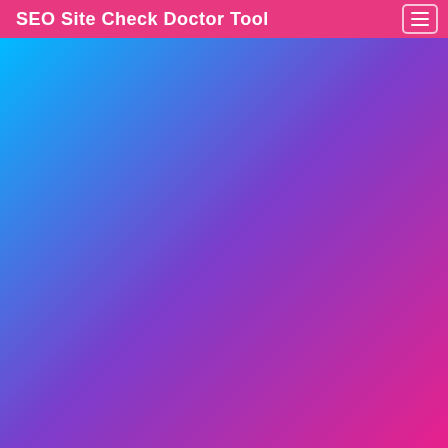SEO Site Check Doctor Tool
[Figure (illustration): Full-width gradient background blending from cyan/sky blue on the left to purple in the center to hot pink/magenta on the right]